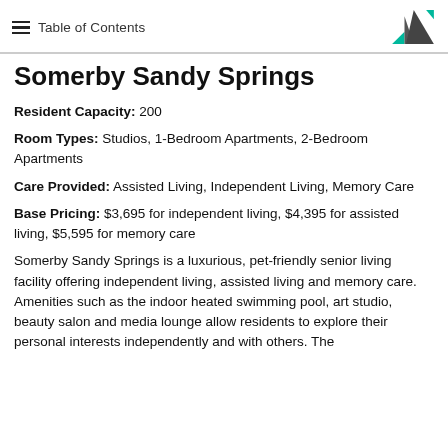Table of Contents
Somerby Sandy Springs
Resident Capacity: 200
Room Types: Studios, 1-Bedroom Apartments, 2-Bedroom Apartments
Care Provided: Assisted Living, Independent Living, Memory Care
Base Pricing: $3,695 for independent living, $4,395 for assisted living, $5,595 for memory care
Somerby Sandy Springs is a luxurious, pet-friendly senior living facility offering independent living, assisted living and memory care. Amenities such as the indoor heated swimming pool, art studio, beauty salon and media lounge allow residents to explore their personal interests independently and with others. The